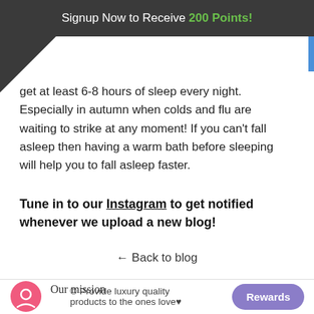Signup Now to Receive 200 Points!
get at least 6-8 hours of sleep every night. Especially in autumn when colds and flu are waiting to strike at any moment! If you can't fall asleep then having a warm bath before sleeping will help you to fall asleep faster.
Tune in to our Instagram to get notified whenever we upload a new blog!
← Back to blog
Our mission
© Provide luxury quality products to the ones love♥